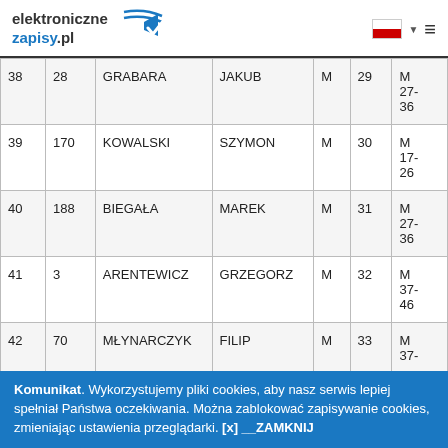elektroniczne zapisy.pl
| # | Nr | Nazwisko | Imię | Płeć | Wiek | Kat. |
| --- | --- | --- | --- | --- | --- | --- |
| 38 | 28 | GRABARA | JAKUB | M | 29 | M 27-36 |
| 39 | 170 | KOWALSKI | SZYMON | M | 30 | M 17-26 |
| 40 | 188 | BIEGAŁA | MAREK | M | 31 | M 27-36 |
| 41 | 3 | ARENTEWICZ | GRZEGORZ | M | 32 | M 37-46 |
| 42 | 70 | MŁYNARCZYK | FILIP | M | 33 | M 37-... |
Komunikat. Wykorzystujemy pliki cookies, aby nasz serwis lepiej spełniał Państwa oczekiwania. Można zablokować zapisywanie cookies, zmieniając ustawienia przeglądarki. [x] __ZAMKNIJ